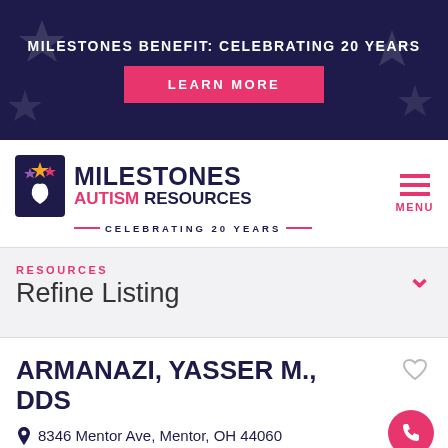MILESTONES BENEFIT: CELEBRATING 20 YEARS
[Figure (logo): Milestones Autism Resources logo with hand and stars icon, text MILESTONES AUTISM RESOURCES CELEBRATING 20 YEARS]
RESOURCES
Refine Listing
ARMANAZI, YASSER M., DDS
8346 Mentor Ave, Mentor, OH 44060